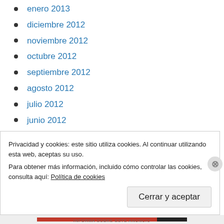enero 2013
diciembre 2012
noviembre 2012
octubre 2012
septiembre 2012
agosto 2012
julio 2012
junio 2012
mayo 2012
abril 2012
marzo 2012
Privacidad y cookies: este sitio utiliza cookies. Al continuar utilizando esta web, aceptas su uso.
Para obtener más información, incluido cómo controlar las cookies, consulta aquí: Política de cookies
Cerrar y aceptar